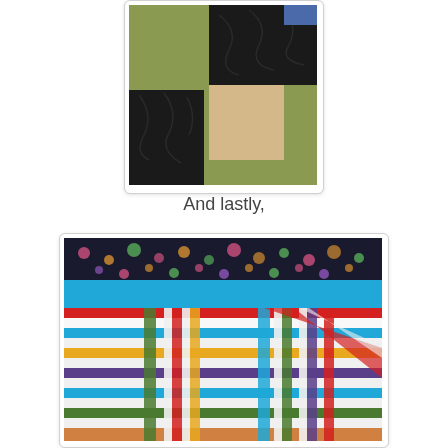[Figure (photo): Close-up of a quilt block with olive/green fabric border, black patterned fabric, and a tan/beige center square. Log cabin style quilt block.]
And lastly,
[Figure (photo): Colorful log cabin style quilt draped over a surface, showing bright multicolored strips in red, yellow, blue, teal, green, white, and purple, with a dark floral border fabric at the top.]